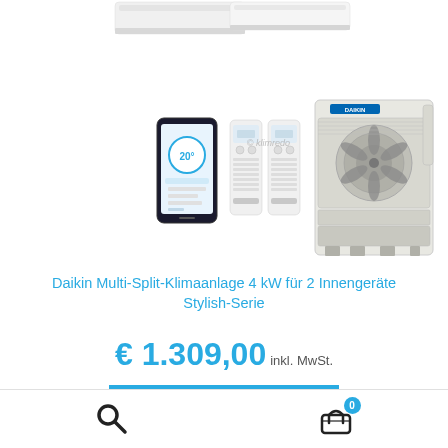[Figure (photo): Daikin Multi-Split air conditioning system product photo showing indoor wall units (top), smartphone app, two remote controls, and outdoor compressor unit on white background]
Daikin Multi-Split-Klimaanlage 4 kW für 2 Innengeräte Stylish-Serie
€ 1.309,00 inkl. MwSt.
ARTIKEL ANZEIGEN
Search icon and cart icon with badge 0